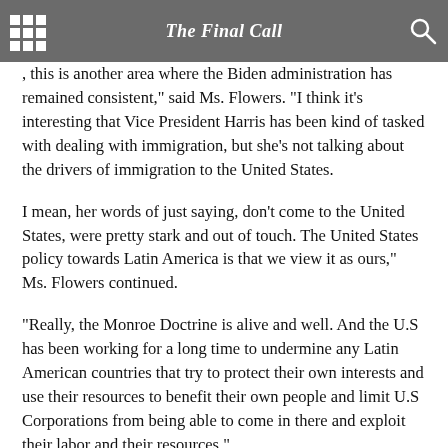The Final Call
, this is another area where the Biden administration has remained consistent," said Ms. Flowers. "I think it's interesting that Vice President Harris has been kind of tasked with dealing with immigration, but she's not talking about the drivers of immigration to the United States.
I mean, her words of just saying, don't come to the United States, were pretty stark and out of touch. The United States policy towards Latin America is that we view it as ours," Ms. Flowers continued.
“Really, the Monroe Doctrine is alive and well. And the U.S has been working for a long time to undermine any Latin American countries that try to protect their own interests and use their resources to benefit their own people and limit U.S Corporations from being able to come in there and exploit their labor and their resources."
U.S. policies in the Muslim world will also get some attention during Mr. Biden’s travels. During the 31st formal meeting of the heads of